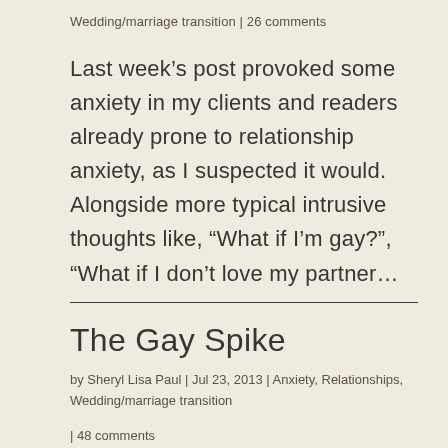Wedding/marriage transition | 26 comments
Last week’s post provoked some anxiety in my clients and readers already prone to relationship anxiety, as I suspected it would. Alongside more typical intrusive thoughts like, “What if I’m gay?”, “What if I don’t love my partner…
The Gay Spike
by Sheryl Lisa Paul | Jul 23, 2013 | Anxiety, Relationships, Wedding/marriage transition
| 48 comments